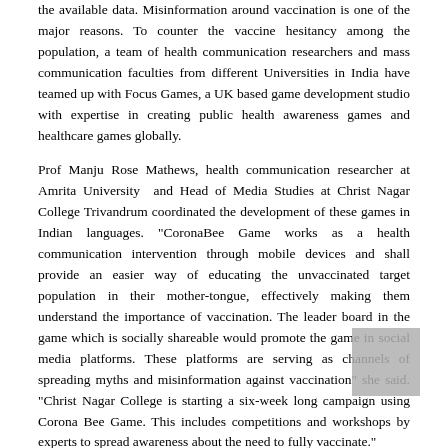the available data. Misinformation around vaccination is one of the major reasons. To counter the vaccine hesitancy among the population, a team of health communication researchers and mass communication faculties from different Universities in India have teamed up with Focus Games, a UK based game development studio with expertise in creating public health awareness games and healthcare games globally.
Prof Manju Rose Mathews, health communication researcher at Amrita University and Head of Media Studies at Christ Nagar College Trivandrum coordinated the development of these games in Indian languages. "CoronaBee Game works as a health communication intervention through mobile devices and shall provide an easier way of educating the unvaccinated target population in their mother-tongue, effectively making them understand the importance of vaccination. The leader board in the game which is socially shareable would promote the game in social media platforms. These platforms are serving as channels of spreading myths and misinformation against vaccination" she said. "Christ Nagar College is starting a six-week long campaign using Corona Bee Game. This includes competitions and workshops by experts to spread awareness about the need to fully vaccinate."
Dr Shruti Goel, health communication researcher and faculty at Maharaja Agrasen College, University of Delhi developed the Hindi content for the game. She said, "in an infodemic era where people are facing challenge of